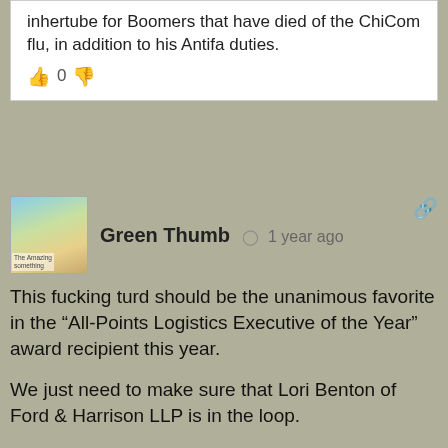inhertube for Boomers that have died of the ChiCom flu, in addition to his Antifa duties.
0
Green Thumb  1 year ago
This fucking turd should be the unanimous favorite in the “All-Points Logistics Executive of the Year” award recipient this year.

We just need to make sure that Lori Benton of Ford & Harrison LLP is in the loop.

Felons at All-Points Logistics are welcome. However, those that have been arrested and doing time are ineligible.

Only Phildo (aka: The False Commander “Phony” Phil Monkress (CEO of All-Points Logistics)) has the authority to make the call.

But unfortunately, he seems to be never around his phone.
0